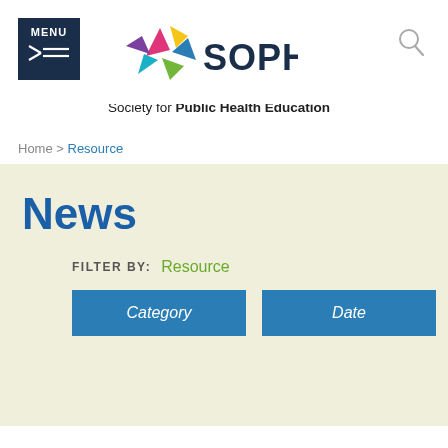[Figure (logo): SOPHE logo with colorful star and dark blue text SOPHE]
Society for Public Health Education
Home > Resource
News
FILTER BY: Resource
Category  Date